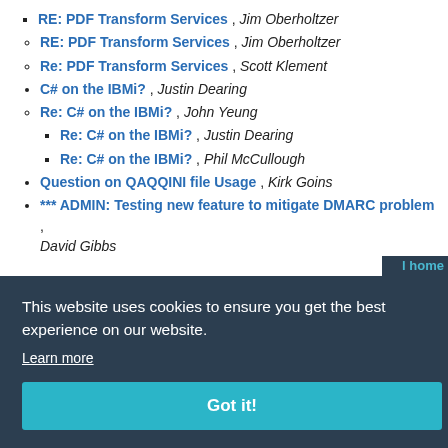RE: PDF Transform Services , Jim Oberholtzer
RE: PDF Transform Services , Jim Oberholtzer
Re: PDF Transform Services , Scott Klement
C# on the IBMi? , Justin Dearing
Re: C# on the IBMi? , John Yeung
Re: C# on the IBMi? , Justin Dearing
Re: C# on the IBMi? , Phil McCullough
Question on QAQQINI file Usage , Kirk Goins
*** ADMIN: Testing new feature to mitigate DMARC problem , David Gibbs
This website uses cookies to ensure you get the best experience on our website. Learn more
Got it!